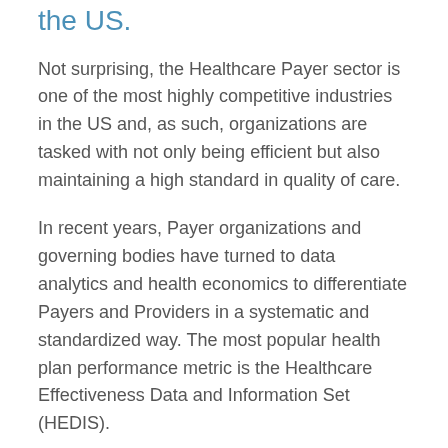the US.
Not surprising, the Healthcare Payer sector is one of the most highly competitive industries in the US and, as such, organizations are tasked with not only being efficient but also maintaining a high standard in quality of care.
In recent years, Payer organizations and governing bodies have turned to data analytics and health economics to differentiate Payers and Providers in a systematic and standardized way. The most popular health plan performance metric is the Healthcare Effectiveness Data and Information Set (HEDIS).
HEDIS measures are heavily regulated and